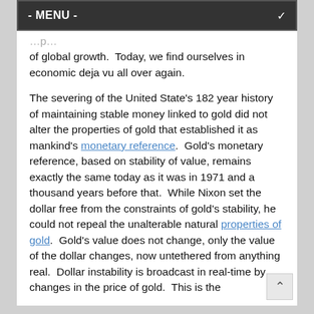- MENU -
of global growth.  Today, we find ourselves in economic deja vu all over again.
The severing of the United State's 182 year history of maintaining stable money linked to gold did not alter the properties of gold that established it as mankind's monetary reference.  Gold's monetary reference, based on stability of value, remains exactly the same today as it was in 1971 and a thousand years before that.  While Nixon set the dollar free from the constraints of gold's stability, he could not repeal the unalterable natural properties of gold.  Gold's value does not change, only the value of the dollar changes, now untethered from anything real.  Dollar instability is broadcast in real-time by changes in the price of gold.  This is the